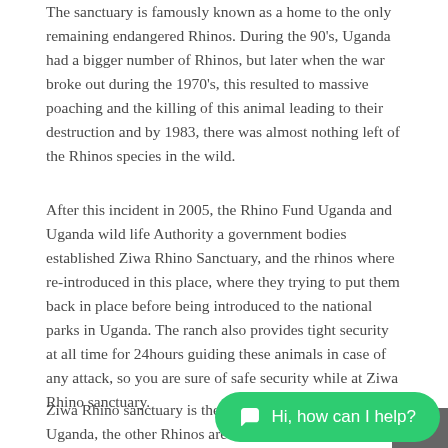The sanctuary is famously known as a home to the only remaining endangered Rhinos. During the 90's, Uganda had a bigger number of Rhinos, but later when the war broke out during the 1970's, this resulted to massive poaching and the killing of this animal leading to their destruction and by 1983, there was almost nothing left of the Rhinos species in the wild.
After this incident in 2005, the Rhino Fund Uganda and Uganda wild life Authority a government bodies established Ziwa Rhino Sanctuary, and the rhinos where re-introduced in this place, where they trying to put them back in place before being introduced to the national parks in Uganda. The ranch also provides tight security at all time for 24hours guiding these animals in case of any attack, so you are sure of safe security while at Ziwa Rhino sanctuary.
Ziwa Rhino sanctuary is the only p... in Uganda, the other Rhinos are found at Uganda wildlife...